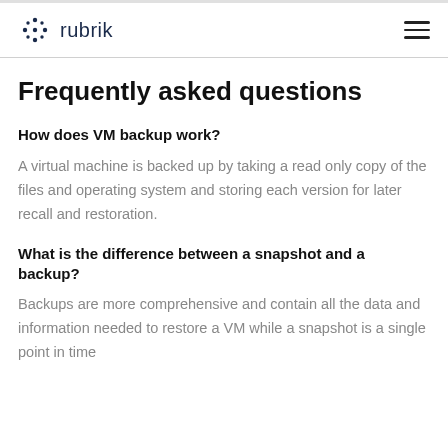rubrik
Frequently asked questions
How does VM backup work?
A virtual machine is backed up by taking a read only copy of the files and operating system and storing each version for later recall and restoration.
What is the difference between a snapshot and a backup?
Backups are more comprehensive and contain all the data and information needed to restore a VM while a snapshot is a single point in time